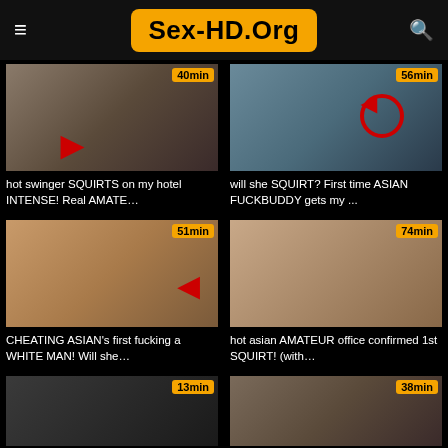Sex-HD.Org
[Figure (screenshot): Video thumbnail top-left, 40min duration label]
hot swinger SQUIRTS on my hotel INTENSE! Real AMATE…
[Figure (screenshot): Video thumbnail top-right, 56min duration label]
will she SQUIRT? First time ASIAN FUCKBUDDY gets my ...
[Figure (screenshot): Video thumbnail middle-left, 51min duration label]
CHEATING ASIAN's first fucking a WHITE MAN! Will she…
[Figure (screenshot): Video thumbnail middle-right, 74min duration label]
hot asian AMATEUR office confirmed 1st SQUIRT! (with…
[Figure (screenshot): Video thumbnail bottom-left, 13min duration label]
[Figure (screenshot): Video thumbnail bottom-right, 38min duration label]